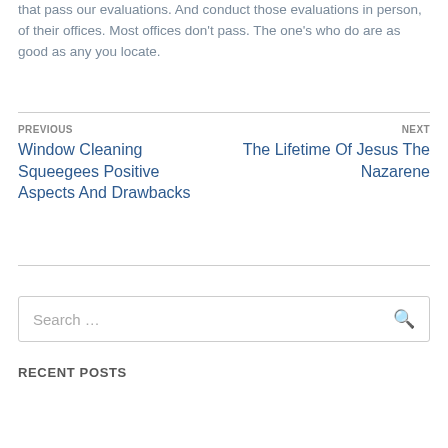that pass our evaluations. And conduct those evaluations in person, of their offices. Most offices don't pass. The one's who do are as good as any you locate.
PREVIOUS
Window Cleaning Squeegees Positive Aspects And Drawbacks
NEXT
The Lifetime Of Jesus The Nazarene
Search …
RECENT POSTS